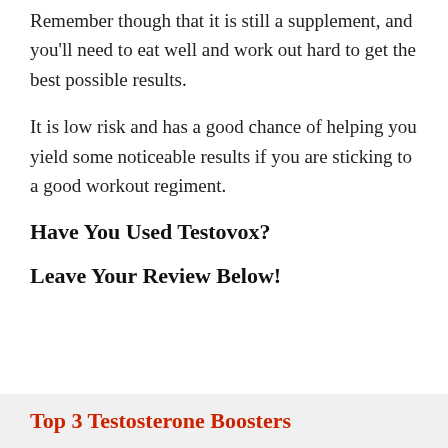Remember though that it is still a supplement, and you'll need to eat well and work out hard to get the best possible results.
It is low risk and has a good chance of helping you yield some noticeable results if you are sticking to a good workout regiment.
Have You Used Testovox?
Leave Your Review Below!
Top 3 Testosterone Boosters